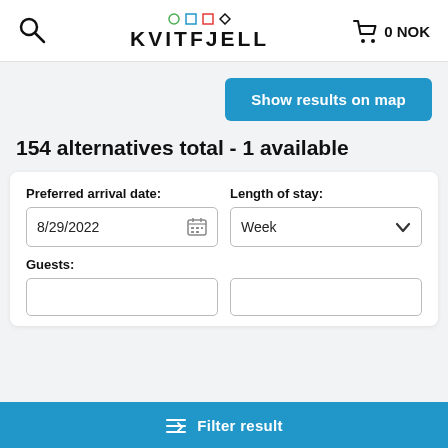KVITFJELL  0 NOK
154 alternatives total - 1 available
Show results on map
Preferred arrival date: 8/29/2022  Length of stay: Week
Guests:
Filter result